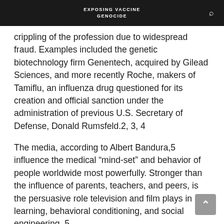EXPOSING VACCINE GENOCIDE
crippling of the profession due to widespread fraud. Examples included the genetic biotechnology firm Genentech, acquired by Gilead Sciences, and more recently Roche, makers of Tamiflu, an influenza drug questioned for its creation and official sanction under the administration of previous U.S. Secretary of Defense, Donald Rumsfeld.2, 3, 4
The media, according to Albert Bandura,5 influence the medical “mind-set” and behavior of people worldwide most powerfully. Stronger than the influence of parents, teachers, and peers, is the persuasive role television and film plays in learning, behavioral conditioning, and social engineering..5